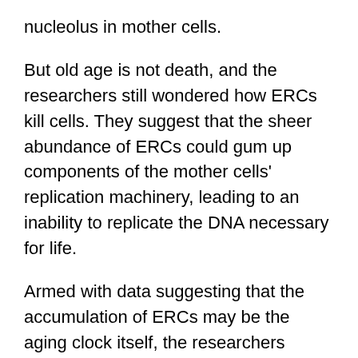nucleolus in mother cells.
But old age is not death, and the researchers still wondered how ERCs kill cells. They suggest that the sheer abundance of ERCs could gum up components of the mother cells' replication machinery, leading to an inability to replicate the DNA necessary for life.
Armed with data suggesting that the accumulation of ERCs may be the aging clock itself, the researchers wondered what set the fatal accumulation in motion. What, as Professor Guarente inquired, could "set the clock early [so] the alarm rings early"?
Their experimental results suggest a paradox. The